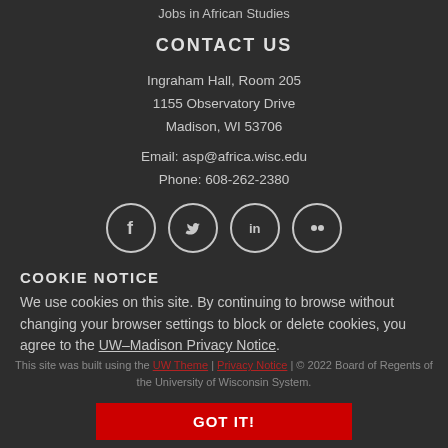Jobs in African Studies
CONTACT US
Ingraham Hall, Room 205
1155 Observatory Drive
Madison, WI 53706
Email: asp@africa.wisc.edu
Phone: 608-262-2380
[Figure (infographic): Four social media icon circles: Facebook, Twitter, LinkedIn, Flickr]
COOKIE NOTICE
We use cookies on this site. By continuing to browse without changing your browser settings to block or delete cookies, you agree to the UW–Madison Privacy Notice.
This site was built using the UW Theme | Privacy Notice | © 2022 Board of Regents of the University of Wisconsin System.
GOT IT!